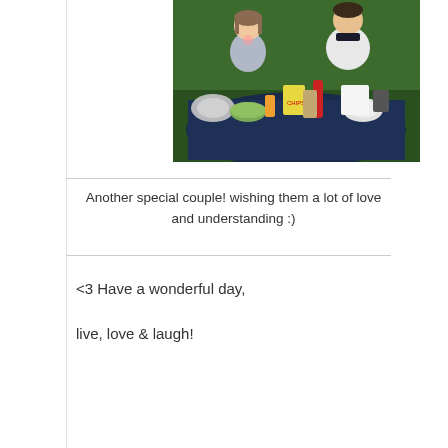[Figure (photo): Two young people sitting at an outdoor table with food, drinks, and dishes. Green grass and trees in background.]
Another special couple! wishing them a lot of love and understanding :)
<3 Have a wonderful day,

live, love & laugh!